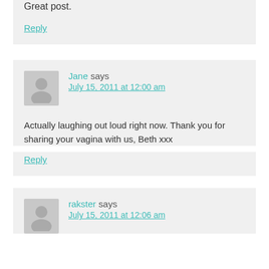Great post.
Reply
Jane says
July 15, 2011 at 12:00 am
Actually laughing out loud right now. Thank you for sharing your vagina with us, Beth xxx
Reply
rakster says
July 15, 2011 at 12:06 am